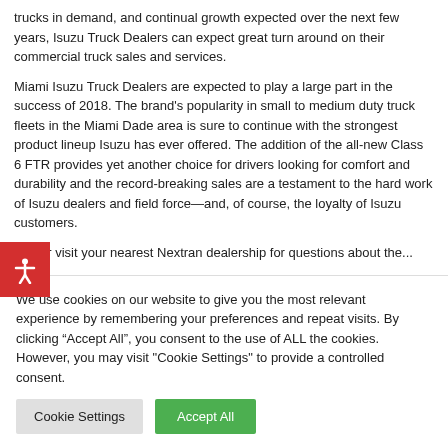trucks in demand, and continual growth expected over the next few years, Isuzu Truck Dealers can expect great turn around on their commercial truck sales and services.
Miami Isuzu Truck Dealers are expected to play a large part in the success of 2018. The brand's popularity in small to medium duty truck fleets in the Miami Dade area is sure to continue with the strongest product lineup Isuzu has ever offered. The addition of the all-new Class 6 FTR provides yet another choice for drivers looking for comfort and durability and the record-breaking sales are a testament to the hard work of Isuzu dealers and field force—and, of course, the loyalty of Isuzu customers.
Call or visit your nearest Nextran dealership for questions about the Isuzu FTR and how...
We use cookies on our website to give you the most relevant experience by remembering your preferences and repeat visits. By clicking "Accept All", you consent to the use of ALL the cookies. However, you may visit "Cookie Settings" to provide a controlled consent.